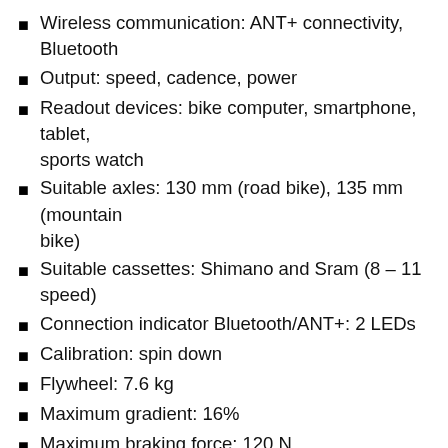Wireless communication: ANT+ connectivity, Bluetooth
Output: speed, cadence, power
Readout devices: bike computer, smartphone, tablet, sports watch
Suitable axles: 130 mm (road bike), 135 mm (mountain bike)
Suitable cassettes: Shimano and Sram (8 – 11 speed)
Connection indicator Bluetooth/ANT+: 2 LEDs
Calibration: spin down
Flywheel: 7.6 kg
Maximum gradient: 16%
Maximum braking force: 120 N
Maximum torque: 41 Nm
Maximum power: 2000 watts
Inertia: 31.2 kg
Wireless communication: ANT+ connectivity, Bluetooth wireless technology
Control options: Smartphone, tablet, ANT+ bike computer